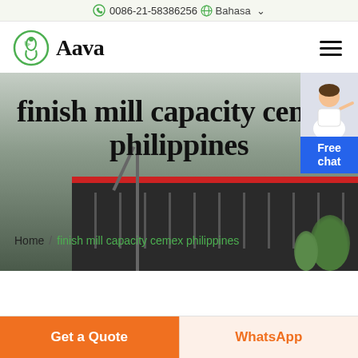0086-21-58386256
Bahasa
Aava
finish mill capacity cemex philippines
Home / finish mill capacity cemex philippines
[Figure (photo): Industrial building exterior with dark facade and red stripe, light pole in foreground]
Free chat
Get a Quote
WhatsApp